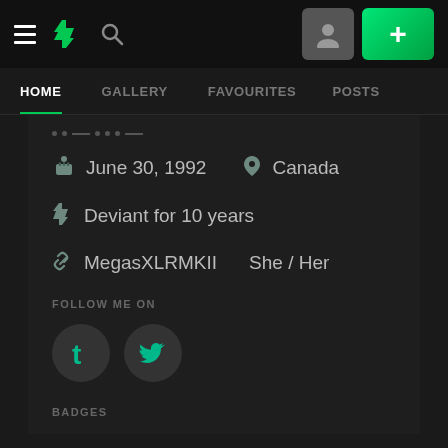DeviantArt navigation bar with hamburger menu, DA logo, search icon, profile button, and + button
HOME | GALLERY | FAVOURITES | POSTS
June 30, 1992  Canada
Deviant for 10 years
MegasXLRMKII  She / Her
FOLLOW ME ON
[Figure (logo): Tumblr and Twitter social media icons]
BADGES